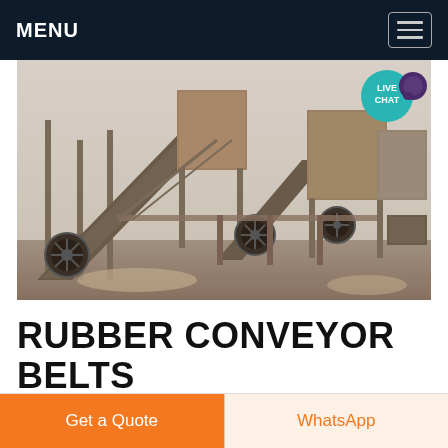MENU
[Figure (photo): Industrial conveyor belt system at a mining or quarrying facility. Large machinery with inclined rubber conveyor belts, pulleys, structural steel supports, and processing equipment visible. The setting appears to be an outdoor construction/mining site.]
RUBBER CONVEYOR BELTS
Get a Quote
WhatsApp